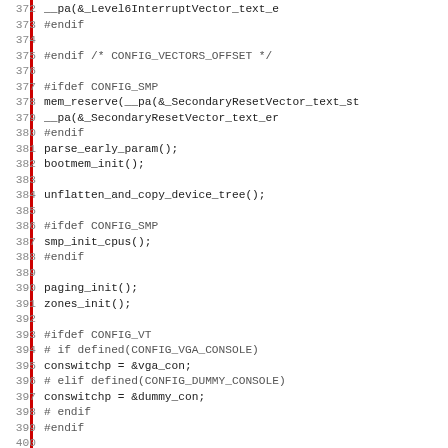[Figure (screenshot): Source code listing showing C/assembly code lines 372-403 with line numbers on the left and a red vertical bar marking the left margin. Code includes preprocessor directives (#ifdef, #endif, #if, #elif), function calls (mem_reserve, parse_early_param, bootmem_init, unflatten_and_copy_device_tree, smp_init_cpus, paging_init, zones_init, platform_pcibios_init), and variable assignments (conswitchp = &vga_con, conswitchp = &dummy_con).]